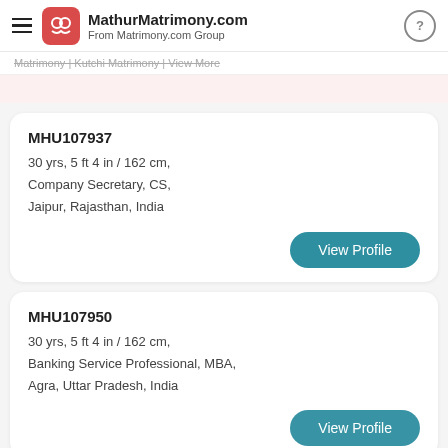MathurMatrimony.com – From Matrimony.com Group
Matrimony | Kutchi Matrimony | View More
MHU107937
30 yrs, 5 ft 4 in / 162 cm,
Company Secretary, CS,
Jaipur, Rajasthan, India
View Profile
MHU107950
30 yrs, 5 ft 4 in / 162 cm,
Banking Service Professional, MBA,
Agra, Uttar Pradesh, India